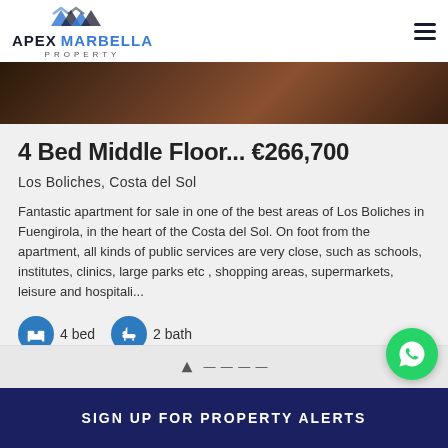APEX MARBELLA PROPERTY
[Figure (photo): Partial interior photo showing dark wooden furniture, bottom strip of a room image]
4 Bed Middle Floor... €266,700
Los Boliches, Costa del Sol
Fantastic apartment for sale in one of the best areas of Los Boliches in Fuengirola, in the heart of the Costa del Sol. On foot from the apartment, all kinds of public services are very close, such as schools, institutes, clinics, large parks etc , shopping areas, supermarkets, leisure and hospitali...
4 bed
2 bath
SIGN UP FOR PROPERTY ALERTS